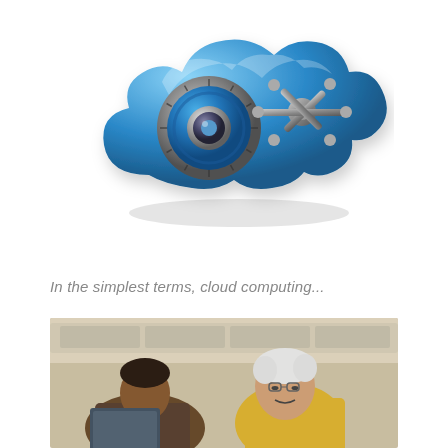[Figure (illustration): A blue metallic cloud shape with a combination lock dial and a vault-style turning handle/wheel attached, resembling a secure cloud safe. The cloud is glossy blue and the lock mechanism is silver/metallic.]
In the simplest terms, cloud computing...
[Figure (photo): A photograph showing people on what appears to be an airplane. A person with grey/white hair wearing a yellow shirt is leaning over, and another person is visible. They appear to be looking at something, possibly a laptop or device.]